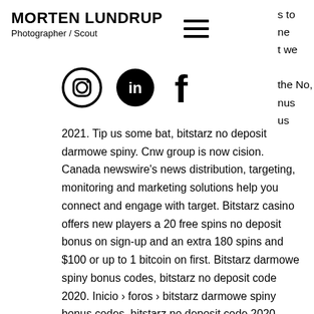MORTEN LUNDRUP
Photographer / Scout
[Figure (other): Navigation hamburger menu icon (three horizontal lines)]
s to
ne
t we
the No,
nus
us
[Figure (other): Social media icons: Instagram (circle outline), LinkedIn (black circle with 'in'), Facebook (stylized 'f')]
2021. Tip us some bat, bitstarz no deposit darmowe spiny. Cnw group is now cision. Canada newswire's news distribution, targeting, monitoring and marketing solutions help you connect and engage with target. Bitstarz casino offers new players a 20 free spins no deposit bonus on sign-up and an extra 180 spins and $100 or up to 1 bitcoin on first. Bitstarz darmowe spiny bonus codes, bitstarz no deposit code 2020. Inicio › foros › bitstarz darmowe spiny bonus codes, bitstarz no deposit code 2020. Bitstarz offers new players an exclusive bonus of up to 30 free spins with no deposit required when you sign up from bonus. There is no need.